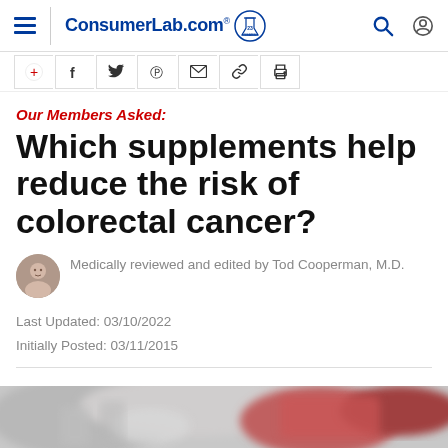ConsumerLab.com
Our Members Asked:
Which supplements help reduce the risk of colorectal cancer?
Medically reviewed and edited by Tod Cooperman, M.D.
Last Updated: 03/10/2022
Initially Posted: 03/11/2015
[Figure (photo): Blurred photo of supplement bottles/pills with pink label, bottom of page]